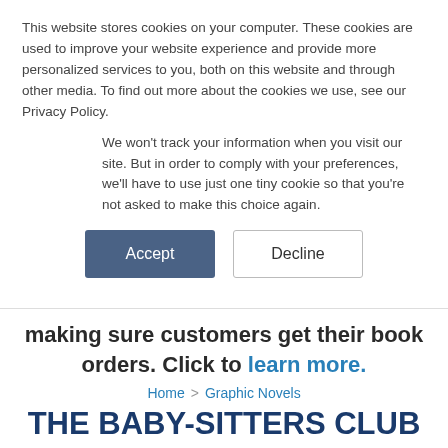This website stores cookies on your computer. These cookies are used to improve your website experience and provide more personalized services to you, both on this website and through other media. To find out more about the cookies we use, see our Privacy Policy.
We won't track your information when you visit our site. But in order to comply with your preferences, we'll have to use just one tiny cookie so that you're not asked to make this choice again.
Accept
Decline
making sure customers get their book orders. Click to learn more.
Home > Graphic Novels
THE BABY-SITTERS CLUB GRAPHIC NOVELS | 11 BOOKS